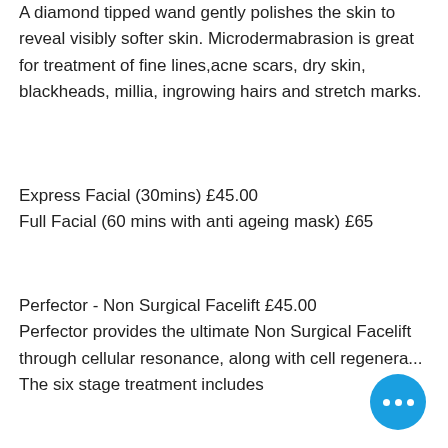A diamond tipped wand gently polishes the skin to reveal visibly softer skin. Microdermabrasion is great for treatment of fine lines,acne scars, dry skin, blackheads, millia, ingrowing hairs and stretch marks.
Express Facial (30mins) £45.00
Full Facial (60 mins with anti ageing mask) £65
Perfector - Non Surgical Facelift £45.00
Perfector provides the ultimate Non Surgical Facelift through cellular resonance, along with cell regenera... The six stage treatment includes